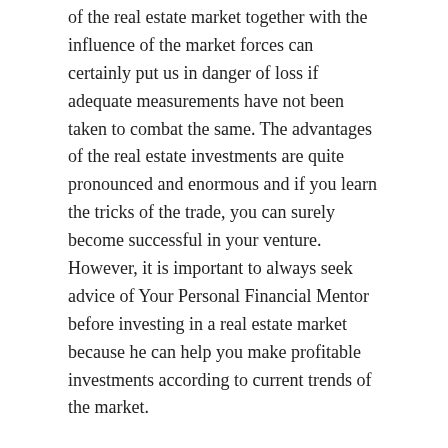of the real estate market together with the influence of the market forces can certainly put us in danger of loss if adequate measurements have not been taken to combat the same. The advantages of the real estate investments are quite pronounced and enormous and if you learn the tricks of the trade, you can surely become successful in your venture. However, it is important to always seek advice of Your Personal Financial Mentor before investing in a real estate market because he can help you make profitable investments according to current trends of the market.
Real estate investments are less risky
If you will actually analyze the real estate market, you will find that investments in this domain are not quite risky as we think it to be. In fact, you will find that investments in this sector are certainly stable and are also great in gaining quick wealth and if you are quite serious about it, you are sure to reap in quick benefits. Real estate adventure is less risky because of location, market behavior, positive land appreciation, lesser inflation and socio-economic factors. Thus, if you have a geographical area in your thoughts which has great resources and low rate on